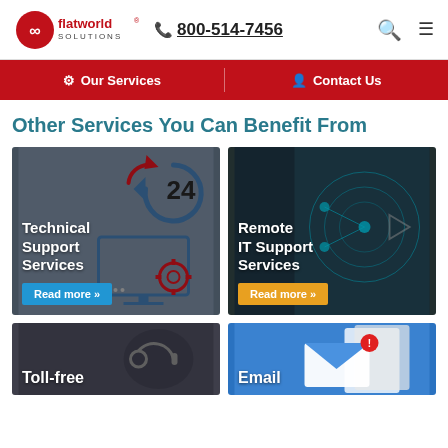flatworld solutions | 800-514-7456
Our Services | Contact Us
Other Services You Can Benefit From
[Figure (screenshot): Technical Support Services card with 24hr clock and gear icons, blue Read more button]
[Figure (screenshot): Remote IT Support Services card with tech background, orange Read more button]
[Figure (screenshot): Toll-free partial card at bottom left]
[Figure (screenshot): Email partial card at bottom right with envelope notification icon]